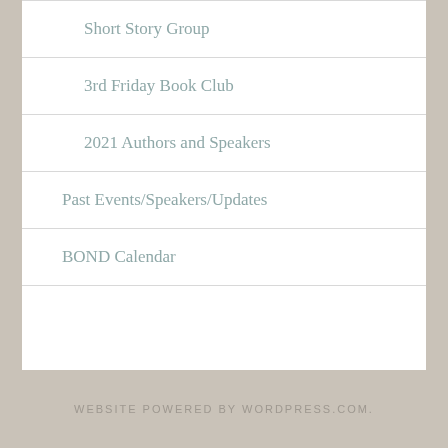Short Story Group
3rd Friday Book Club
2021 Authors and Speakers
Past Events/Speakers/Updates
BOND Calendar
WEBSITE POWERED BY WORDPRESS.COM.